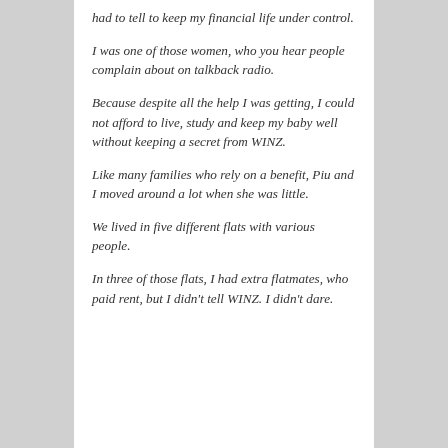had to tell to keep my financial life under control.
I was one of those women, who you hear people complain about on talkback radio.
Because despite all the help I was getting, I could not afford to live, study and keep my baby well without keeping a secret from WINZ.
Like many families who rely on a benefit, Piu and I moved around a lot when she was little.
We lived in five different flats with various people.
In three of those flats, I had extra flatmates, who paid rent, but I didn't tell WINZ. I didn't dare.